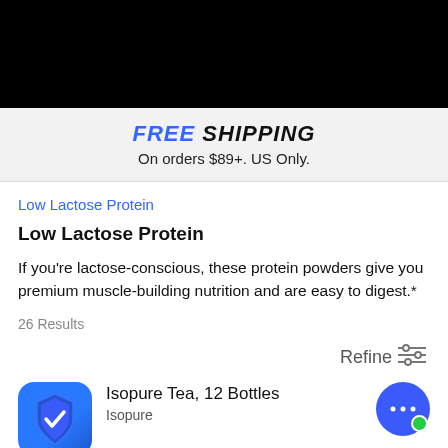FREE SHIPPING
On orders $89+. US Only.
Low Lactose Protein
Low Lactose Protein
If you're lactose-conscious, these protein powders give you premium muscle-building nutrition and are easy to digest.*
26 Results
Refine
Isopure Tea, 12 Bottles
Isopure